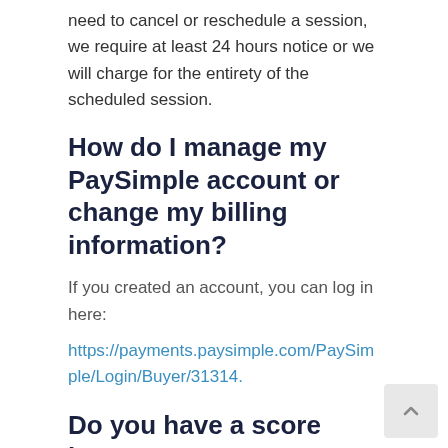need to cancel or reschedule a session, we require at least 24 hours notice or we will charge for the entirety of the scheduled session.
How do I manage my PaySimple account or change my billing information?
If you created an account, you can log in here:
https://payments.paysimple.com/PaySimple/Login/Buyer/31314.
Do you have a score improvement guarantee? How much can my child expect to improve?
What we guarantee is this: we will give our students of the energy and test preparation expertise that we